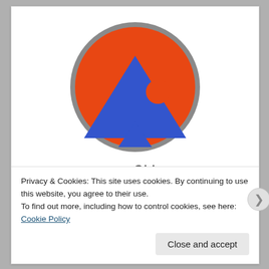[Figure (logo): up2U logo: orange circle with gray border containing a large downward-pointing blue triangle with an orange circle inside it, and a smaller upward-pointing blue triangle at the bottom]
up2U
Privacy & Cookies: This site uses cookies. By continuing to use this website, you agree to their use.
To find out more, including how to control cookies, see here: Cookie Policy
Close and accept